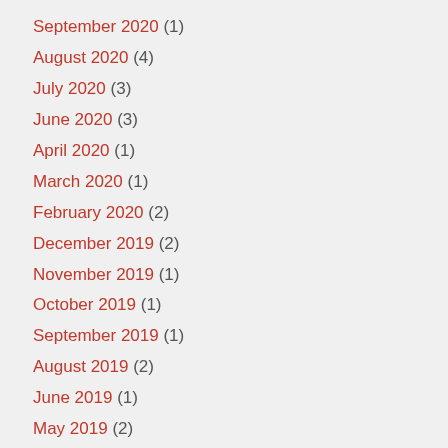September 2020 (1)
August 2020 (4)
July 2020 (3)
June 2020 (3)
April 2020 (1)
March 2020 (1)
February 2020 (2)
December 2019 (2)
November 2019 (1)
October 2019 (1)
September 2019 (1)
August 2019 (2)
June 2019 (1)
May 2019 (2)